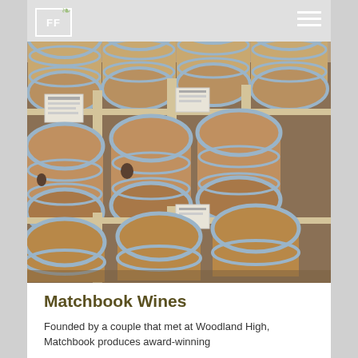FF
[Figure (photo): Rows of wooden wine barrels stacked on metal racks in a winery barrel room, photographed from a low angle showing multiple levels of barrels with metal hoops.]
Matchbook Wines
Founded by a couple that met at Woodland High, Matchbook produces award-winning